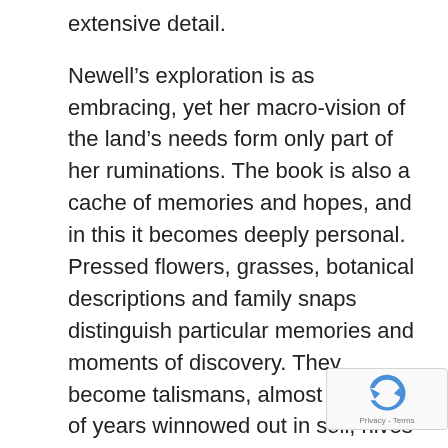extensive detail.

Newell's exploration is as embracing, yet her macro-vision of the land's needs form only part of her ruminations. The book is also a cache of memories and hopes, and in this it becomes deeply personal. Pressed flowers, grasses, botanical descriptions and family snaps distinguish particular memories and moments of discovery. They become talismans, almost charms of years winnowed out in soil, hives and furrow. While she also exposes the harsh realities of farming, not least her disarmingly frank observation that “over the years we’ve had plagues of mice verging on the biblical”, the strongest message is that loving the land, liste to it and responding to its micro changes will b returned in fruitfulness and favour. Newell’s